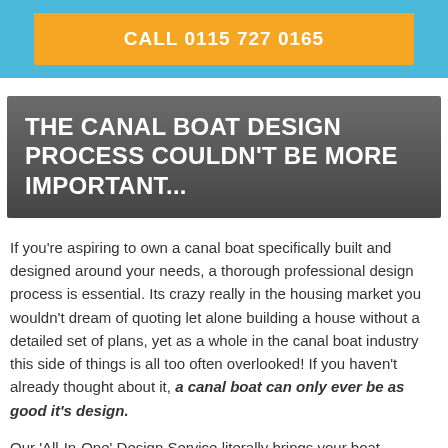CALL 0115 727 0165
THE CANAL BOAT DESIGN PROCESS COULDN'T BE MORE IMPORTANT...
If you're aspiring to own a canal boat specifically built and designed around your needs, a thorough professional design process is essential. Its crazy really in the housing market you wouldn't dream of quoting let alone building a house without a detailed set of plans, yet as a whole in the canal boat industry this side of things is all too often overlooked! If you haven't already thought about it, a canal boat can only ever be as good it's design.
Our 'All-In-One' Design Service literally brings your boat